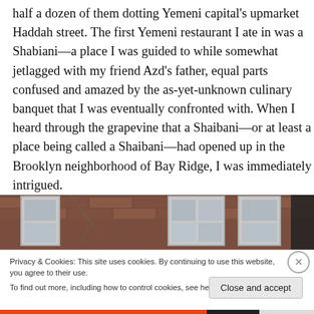half a dozen of them dotting Yemeni capital's upmarket Haddah street. The first Yemeni restaurant I ate in was a Shabiani—a place I was guided to while somewhat jetlagged with my friend Azd's father, equal parts confused and amazed by the as-yet-unknown culinary banquet that I was eventually confronted with. When I heard through the grapevine that a Shaibani—or at least a place being called a Shaibani—had opened up in the Brooklyn neighborhood of Bay Ridge, I was immediately intrigued.
[Figure (photo): Photograph of a brick building exterior with windows, partially visible storefront]
Privacy & Cookies: This site uses cookies. By continuing to use this website, you agree to their use.
To find out more, including how to control cookies, see here: Cookie Policy